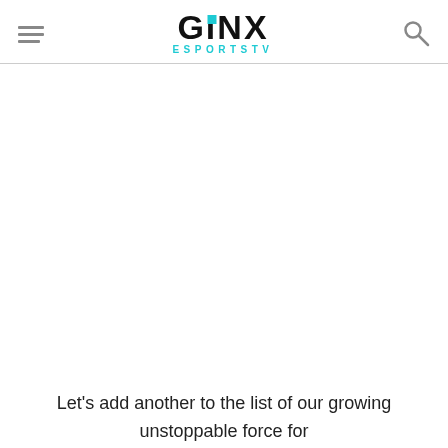GINX ESPORTSTV
Let's add another to the list of our growing unstoppable force for #OWL2020@SharPow_, Welcome to Atlanta
(link to twitter)